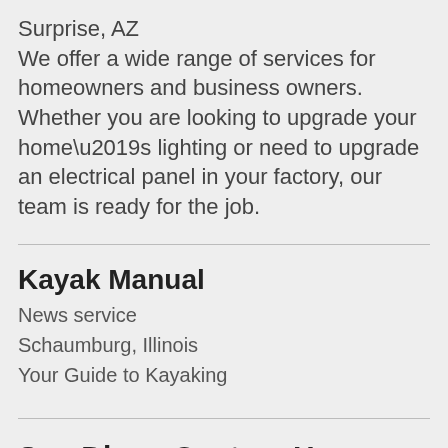Surprise, AZ
We offer a wide range of services for homeowners and business owners. Whether you are looking to upgrade your home’s lighting or need to upgrade an electrical panel in your factory, our team is ready for the job.
Kayak Manual
News service
Schaumburg, Illinois
Your Guide to Kayaking
San Diego Custom Home